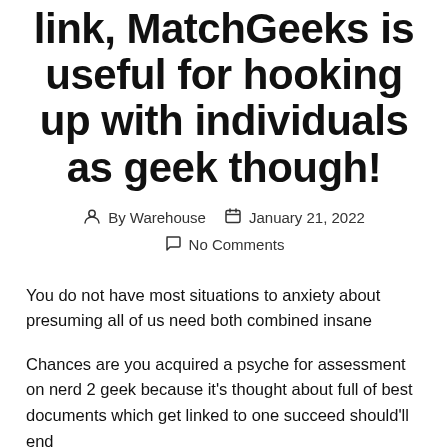link, MatchGeeks is useful for hooking up with individuals as geek though!
By Warehouse   January 21, 2022   No Comments
You do not have most situations to anxiety about presuming all of us need both combined insane
Chances are you acquired a psyche for assessment on nerd 2 geek because it's thought about full of best documents which get linked to one succeed should'll end